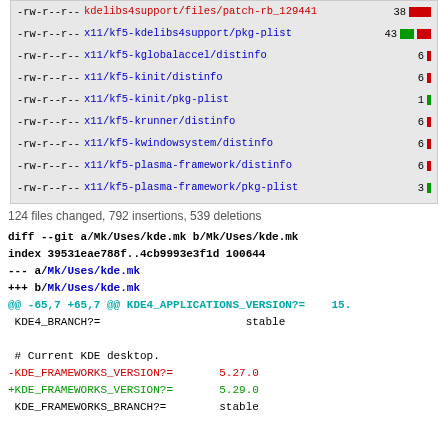| permissions | filename | count | bar |
| --- | --- | --- | --- |
| -rw-r--r-- | kdelibs4support/files/patch-rb_129441 | 38 | red |
| -rw-r--r-- | x11/kf5-kdelibs4support/pkg-plist | 43 | green+red |
| -rw-r--r-- | x11/kf5-kglobalaccel/distinfo | 6 | small-red |
| -rw-r--r-- | x11/kf5-kinit/distinfo | 6 | small-red |
| -rw-r--r-- | x11/kf5-kinit/pkg-plist | 1 | small-green |
| -rw-r--r-- | x11/kf5-krunner/distinfo | 6 | small-red |
| -rw-r--r-- | x11/kf5-kwindowsystem/distinfo | 6 | small-red |
| -rw-r--r-- | x11/kf5-plasma-framework/distinfo | 6 | small-red |
| -rw-r--r-- | x11/kf5-plasma-framework/pkg-plist | 3 | small-green |
124 files changed, 792 insertions, 539 deletions
diff --git a/Mk/Uses/kde.mk b/Mk/Uses/kde.mk
index 39531eae788f..4cb9993e3f1d 100644
--- a/Mk/Uses/kde.mk
+++ b/Mk/Uses/kde.mk
@@ -65,7 +65,7 @@ KDE4_APPLICATIONS_VERSION?=  15.
 KDE4_BRANCH?=                  stable

 # Current KDE desktop.
-KDE_FRAMEWORKS_VERSION?=       5.27.0
+KDE_FRAMEWORKS_VERSION?=       5.29.0
 KDE_FRAMEWORKS_BRANCH?=        stable